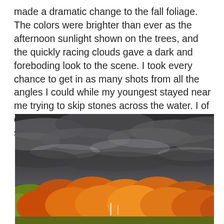made a dramatic change to the fall foliage. The colors were brighter than ever as the afternoon sunlight shown on the trees, and the quickly racing clouds gave a dark and foreboding look to the scene. I took every chance to get in as many shots from all the angles I could while my youngest stayed near me trying to skip stones across the water. I of course had to take a bit of time out for some skipping myself! 😉
[Figure (photo): Autumn forest landscape with dramatic dark stormy clouds overhead. Colorful fall foliage in red, orange, yellow, and green fills the lower portion of the image beneath an ominous grey sky.]